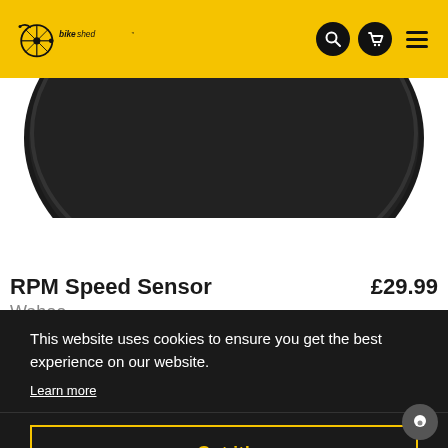[Figure (logo): Bikeshed logo with bicycle wheel graphic and 'bikeshed' text on yellow header background]
[Figure (photo): Close-up product photo of a dark/black RPM Speed Sensor device, partially cropped at top]
RPM Speed Sensor
£29.99
Wahoo
1
This website uses cookies to ensure you get the best experience on our website.
Learn more
Got it!